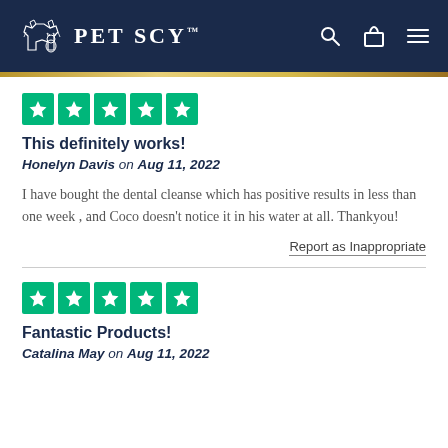PetScy™
[Figure (other): Five green Trustpilot star rating boxes]
This definitely works!
Honelyn Davis on Aug 11, 2022
I have bought the dental cleanse which has positive results in less than one week , and Coco doesn't notice it in his water at all. Thankyou!
Report as Inappropriate
[Figure (other): Five green Trustpilot star rating boxes]
Fantastic Products!
Catalina May on Aug 11, 2022